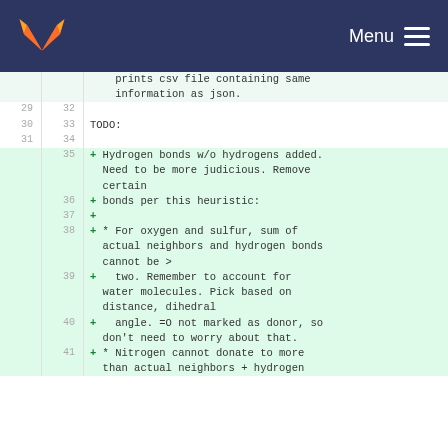GitLab — Menu
| old_line | new_line | code |
| --- | --- | --- |
|  |  | prints csv file containing same
information as json. |
| 29 | 32 |  |
| 30 | 33 | TODO: |
| 31 | 34 |  |
|  | 35 | + Hydrogen bonds w/o hydrogens added. Need to be more judicious. Remove certain |
|  | 36 | + bonds per this heuristic: |
|  | 37 | + |
|  | 38 | + * For oxygen and sulfur, sum of actual neighbors and hydrogen bonds cannot be > |
|  | 39 | +   two. Remember to account for water molecules. Pick based on distance, dihedral |
|  | 40 | +   angle. =O not marked as donor, so don't need to worry about that. |
|  | 41 | + * Nitrogen cannot donate to more than actual neighbors + hydrogen |